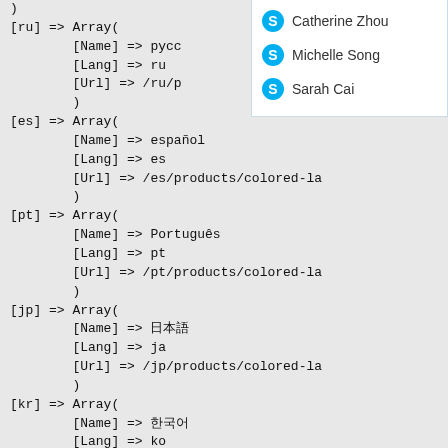)
[ru] => Array(
        [Name] => русс
        [Lang] => ru
        [Url] => /ru/p
        )
[es] => Array(
        [Name] => español
        [Lang] => es
        [Url] => /es/products/colored-la
        )
[pt] => Array(
        [Name] => Português
        [Lang] => pt
        [Url] => /pt/products/colored-la
        )
[jp] => Array(
        [Name] => 日本語
        [Lang] => ja
        [Url] => /jp/products/colored-la
        )
[kr] => Array(
        [Name] => 한국어
        [Lang] => ko
[Figure (screenshot): Sidebar panel showing Skype contact list with three contacts: Catherine Zhou, Michelle Song, Sarah Cai, each with a blue Skype 'S' icon.]